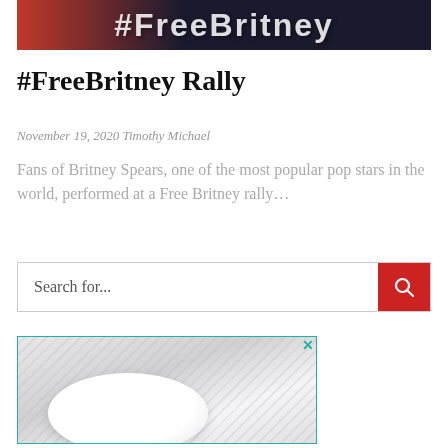[Figure (photo): Top banner image showing #FreeBritney text on dark background with red accent]
#FreeBritney Rally
November 19, 2020 Timothy Michael
Fans of Britney Spears, one of the most popular pop stars in the world, performed at a Free Britney rally...
[Figure (other): Search bar with red search button]
[Figure (photo): Advertisement image showing a white bowl on striped background]